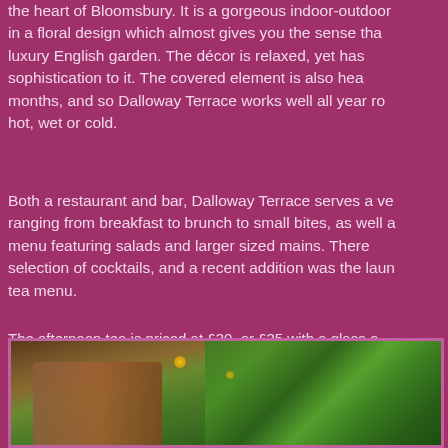the heart of Bloomsbury. It is a gorgeous indoor-outdoor in a floral design which almost gives you the sense tha luxury English garden. The décor is relaxed, yet has sophistication to it. The covered element is also hea months, and so Dalloway Terrace works well all year ro hot, wet or cold.
Both a restaurant and bar, Dalloway Terrace serves a ve ranging from breakfast to brunch to small bites, as well a menu featuring salads and larger sized mains. There selection of cocktails, and a recent addition was the laun tea menu.
The afternoon tea is priced at £30, or £35 with a glass o wine, or £40 with a glass of Perriet-Jouet champagne. most afternoon teas, there is a selection of sandwic pastries.
[Figure (photo): A photo showing what appears to be a drink or cup in the foreground with bokeh yellow lights and green foliage in the background, likely depicting the Dalloway Terrace garden setting.]